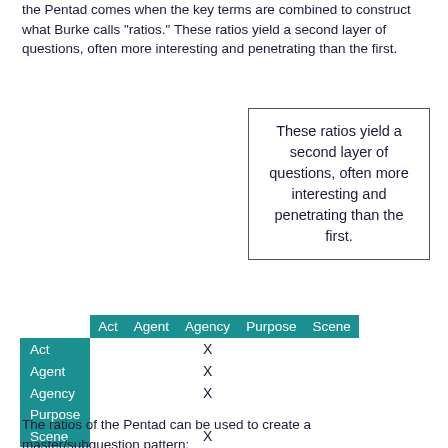the Pentad comes when the key terms are combined to construct what Burke calls "ratios." These ratios yield a second layer of questions, often more interesting and penetrating than the first.
These ratios yield a second layer of questions, often more interesting and penetrating than the first.
|  | Act | Agent | Agency | Purpose | Scene |
| --- | --- | --- | --- | --- | --- |
| Act |  |  | X |  |  |
| Agent |  |  | X |  |  |
| Agency |  |  | X |  |  |
| Purpose |  |  |  |  |  |
| Scene |  |  | X |  |  |
The ratios of the Pentad can be used to create a master/subquestion pattern: